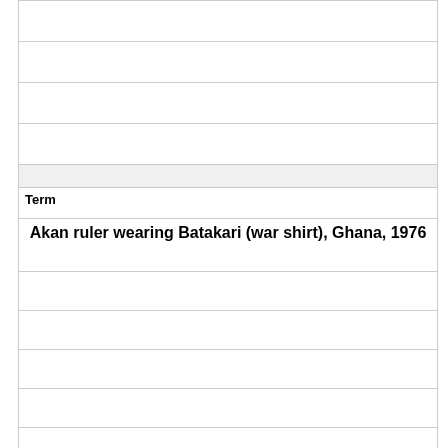| (empty rows) |
| Term |
| Akan ruler wearing Batakari (war shirt), Ghana, 1976 |
| (empty rows) |
| Definition |
| [image] |